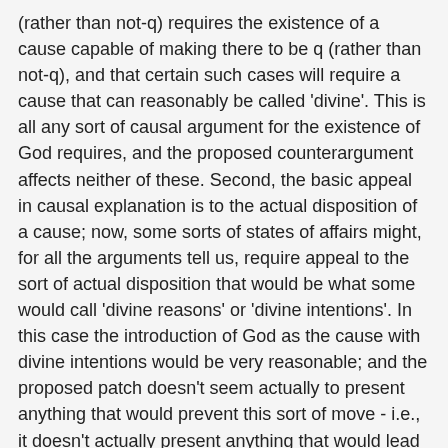(rather than not-q) requires the existence of a cause capable of making there to be q (rather than not-q), and that certain such cases will require a cause that can reasonably be called 'divine'. This is all any sort of causal argument for the existence of God requires, and the proposed counterargument affects neither of these. Second, the basic appeal in causal explanation is to the actual disposition of a cause; now, some sorts of states of affairs might, for all the arguments tell us, require appeal to the sort of actual disposition that would be what some would call 'divine reasons' or 'divine intentions'. In this case the introduction of God as the cause with divine intentions would be very reasonable; and the proposed patch doesn't seem actually to present anything that would prevent this sort of move - i.e., it doesn't actually present anything that would lead us to believe that there could be no appeal to divine intentions. The patch is intended to show this; but it seems, as far as I can see, to simply assume it. So I think this basic strategy is a complete dead-end.
(It's worth noting, incidentally, that the proposed argument could only show that we have no causal reason to think that